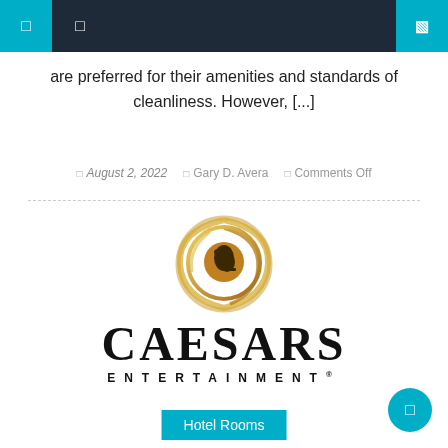Navigation header with icons
are preferred for their amenities and standards of cleanliness. However, [...]
August 2, 2022  Gary D. Avera  Comments Off
[Figure (logo): Caesars Entertainment logo with golden swirl emblem and Roman profile silhouette above the text CAESARS ENTERTAINMENT®]
Hotel Rooms